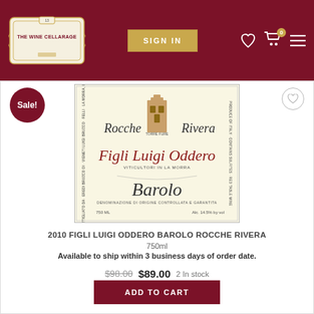[Figure (logo): The Wine Cellarage logo — ornate cream badge with text on dark red header background]
[Figure (screenshot): Wine bottle label for 2010 Figli Luigi Oddero Barolo Rocche Rivera — cream colored label with ornate script text and tower illustration]
2010 FIGLI LUIGI ODDERO BAROLO ROCCHE RIVERA
750ml
Available to ship within 3 business days of order date.
$98.00  $89.00  2 In stock
ADD TO CART